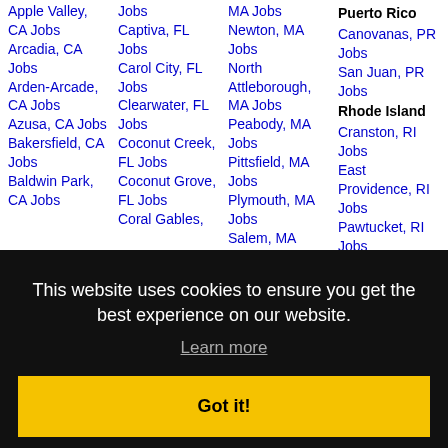Apple Valley, CA Jobs
Arcadia, CA Jobs
Arden-Arcade, CA Jobs
Azusa, CA Jobs
Bakersfield, CA Jobs
Baldwin Park, CA Jobs
Cape... Jobs
Captiva, FL Jobs
Carol City, FL Jobs
Clearwater, FL Jobs
Coconut Creek, FL Jobs
Coconut Grove, FL Jobs
Coral Gables,
MA Jobs
Newton, MA Jobs
North Attleborough, MA Jobs
Peabody, MA Jobs
Pittsfield, MA Jobs
Plymouth, MA Jobs
Salem, MA...
Puerto Rico
Canovanas, PR Jobs
San Juan, PR Jobs
Rhode Island
Cranston, RI Jobs
East Providence, RI Jobs
Pawtucket, RI Jobs
Providence, RI...
Warwick, RI...
Woonsocket, RI...
This website uses cookies to ensure you get the best experience on our website.
Learn more
Got it!
South Carolina
Charleston, SC Jobs
CA Jobs
Beach, FL Jobs
Taunton, MA Jobs
Jobs